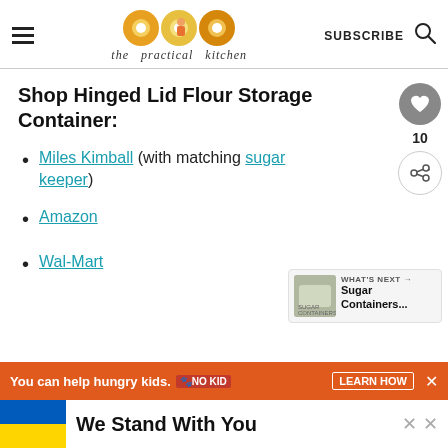the practical kitchen — SUBSCRIBE
Shop Hinged Lid Flour Storage Container:
Miles Kimball (with matching sugar keeper)
Amazon
Wal-Mart
[Figure (screenshot): Side action buttons: heart/like icon (grey circle), count 10, share icon]
[Figure (screenshot): What's Next panel with thumbnail image and text 'Sugar Containers...']
[Figure (screenshot): Orange advertisement banner: 'You can help hungry kids. NO KID LEARN HOW']
[Figure (screenshot): We Stand With You banner with Ukraine flag colors (blue and yellow)]